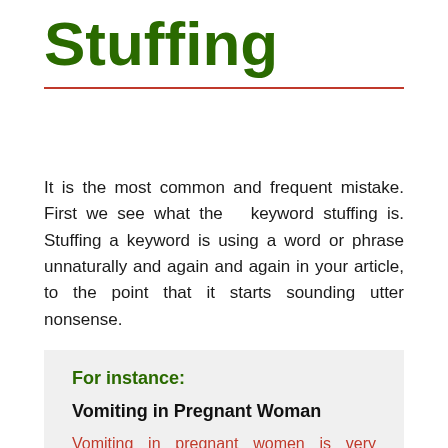Stuffing
It is the most common and frequent mistake. First we see what the  keyword stuffing is. Stuffing a keyword is using a word or phrase unnaturally and again and again in your article, to the point that it starts sounding utter nonsense.
For instance:
Vomiting in Pregnant Woman
Vomiting in pregnant women is very common. Vomiting in